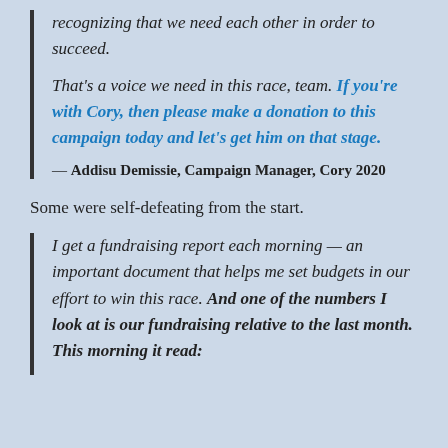recognizing that we need each other in order to succeed.
That's a voice we need in this race, team. If you're with Cory, then please make a donation to this campaign today and let's get him on that stage.
— Addisu Demissie, Campaign Manager, Cory 2020
Some were self-defeating from the start.
I get a fundraising report each morning — an important document that helps me set budgets in our effort to win this race. And one of the numbers I look at is our fundraising relative to the last month. This morning it read: